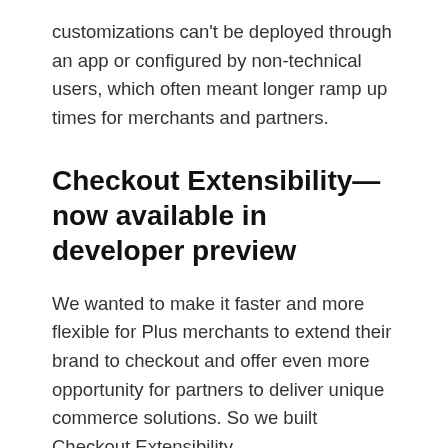customizations can't be deployed through an app or configured by non-technical users, which often meant longer ramp up times for merchants and partners.
Checkout Extensibility—now available in developer preview
We wanted to make it faster and more flexible for Plus merchants to extend their brand to checkout and offer even more opportunity for partners to deliver unique commerce solutions. So we built Checkout Extensibility.